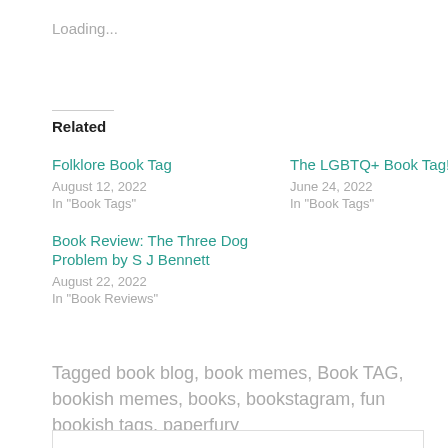Loading...
Related
Folklore Book Tag
August 12, 2022
In "Book Tags"
The LGBTQ+ Book Tag!
June 24, 2022
In "Book Tags"
Book Review: The Three Dog Problem by S J Bennett
August 22, 2022
In "Book Reviews"
Tagged book blog, book memes, Book TAG, bookish memes, books, bookstagram, fun bookish tags, paperfury